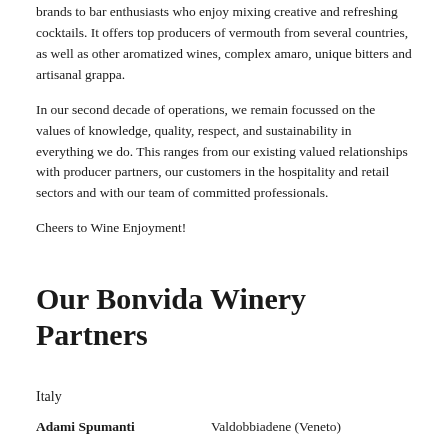brands to bar enthusiasts who enjoy mixing creative and refreshing cocktails. It offers top producers of vermouth from several countries, as well as other aromatized wines, complex amaro, unique bitters and artisanal grappa.
In our second decade of operations, we remain focussed on the values of knowledge, quality, respect, and sustainability in everything we do. This ranges from our existing valued relationships with producer partners, our customers in the hospitality and retail sectors and with our team of committed professionals.
Cheers to Wine Enjoyment!
Our Bonvida Winery Partners
Italy
Adami Spumanti — Valdobbiadene (Veneto)
Aia Vecchia — Bolgheri (Tuscany)
Alta Mora — Etna (Sicily)